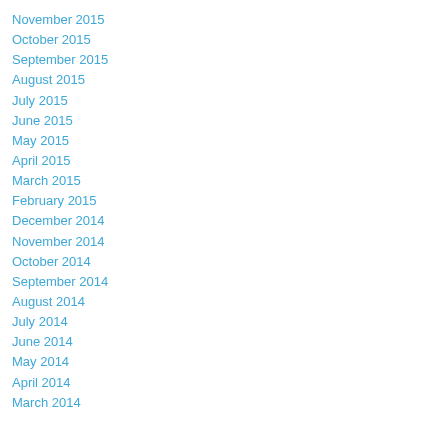November 2015
October 2015
September 2015
August 2015
July 2015
June 2015
May 2015
April 2015
March 2015
February 2015
December 2014
November 2014
October 2014
September 2014
August 2014
July 2014
June 2014
May 2014
April 2014
March 2014